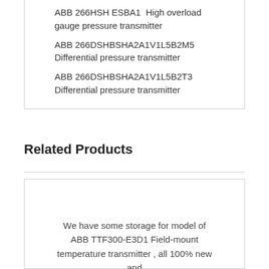ABB 266HSH ESBA1  High overload gauge pressure transmitter
ABB 266DSHBSHA2A1V1L5B2M5  Differential pressure transmitter
ABB 266DSHBSHA2A1V1L5B2T3   Differential pressure transmitter
Related Products
We have some storage for model of ABB TTF300-E3D1 Field-mount temperature transmitter , all 100% new and
ABB TTF300-E3D1